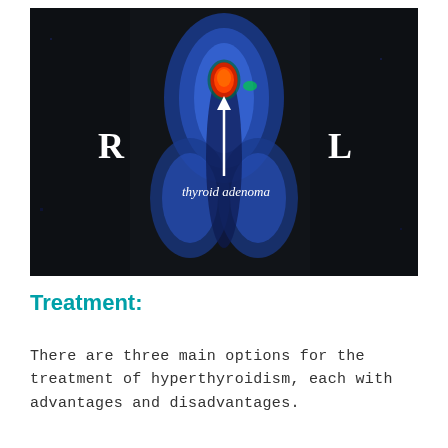[Figure (photo): Medical nuclear scan image showing thyroid adenoma. Dark background with blue-colored thyroid tissue visible in center. A red/orange hot spot is marked with a white arrow pointing up from the label 'thyroid adenoma'. Letters R and L indicate right and left sides.]
Treatment:
There are three main options for the treatment of hyperthyroidism, each with advantages and disadvantages.